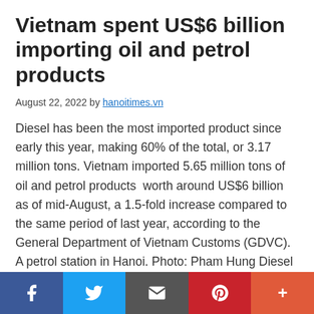Vietnam spent US$6 billion importing oil and petrol products
August 22, 2022 by hanoitimes.vn
Diesel has been the most imported product since early this year, making 60% of the total, or 3.17 million tons. Vietnam imported 5.65 million tons of oil and petrol products  worth around US$6 billion as of mid-August, a 1.5-fold increase compared to the same period of last year, according to the General Department of Vietnam Customs (GDVC). A petrol station in Hanoi. Photo: Pham Hung Diesel
Social share bar: Facebook, Twitter, Email, Pinterest, More